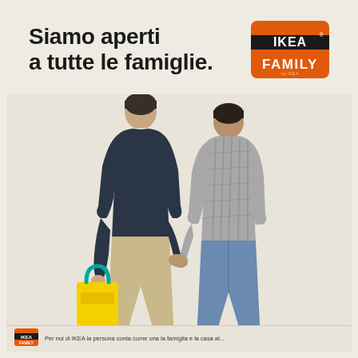Siamo aperti a tutte le famiglie.
[Figure (logo): IKEA FAMILY logo — orange/red rounded rectangle with IKEA text in white and black stripe, FAMILY text below in white]
[Figure (photo): Two men seen from behind, holding hands. The taller man on the left wears a dark navy sweater, khaki trousers, and carries a large yellow IKEA shopping bag with teal handles. The shorter man on the right wears a grey checked shirt and blue jeans. They are standing on a light beige/cream background.]
Per noi di IKEA la persona conta come una la famiglia e la casa al...